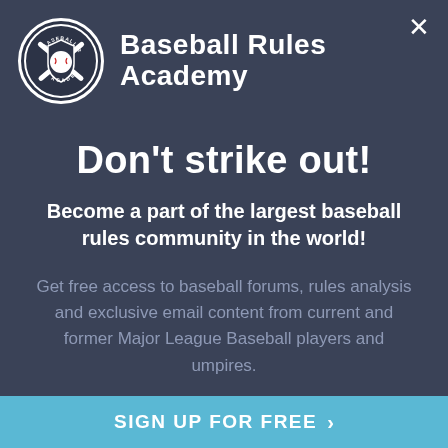[Figure (logo): Baseball Rules Academy circular logo with crossed bats and baseball design, white on dark background]
Baseball Rules Academy
Don't strike out!
Become a part of the largest baseball rules community in the world!
Get free access to baseball forums, rules analysis and exclusive email content from current and former Major League Baseball players and umpires.
SIGN UP FOR FREE →